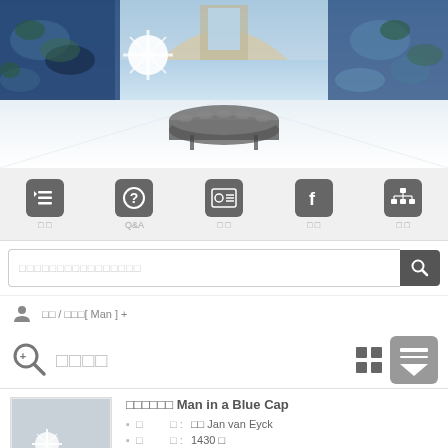[Figure (photo): Interior of a museum gallery with large panoramic water lily paintings on curved walls, a long conference table in the center, arched windows, and white floors with bright light.]
[Figure (screenshot): Navigation bar with five icons: list/menu icon labeled with Korean text, Q&A question mark icon, ID card icon labeled with Korean text, Facebook icon labeled with Korean text, and org chart icon labeled with Korean text.]
[Figure (screenshot): Search bar with placeholder text in Korean and a dark search button with magnifying glass icon.]
□□ / □□□[ Man ] +
□□□□
□□□□□□ Man in a Blue Cap
□ □ : □□ Jan van Eyck
□ □ : 1430 □
□□□□ : □□□□□ Oil on panel
□□□□ : 22.5 x 16.6 cm
□ □ : □□□□-□□□□□□□□ Brukenthal National